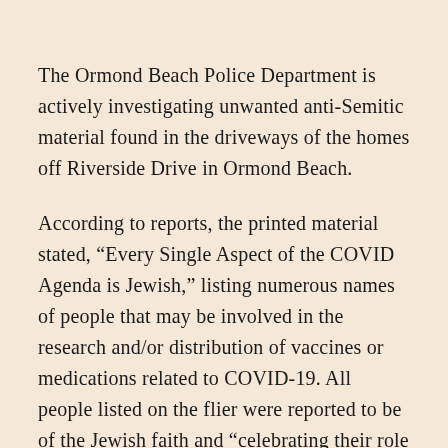The Ormond Beach Police Department is actively investigating unwanted anti-Semitic material found in the driveways of the homes off Riverside Drive in Ormond Beach.
According to reports, the printed material stated, “Every Single Aspect of the COVID Agenda is Jewish,” listing numerous names of people that may be involved in the research and/or distribution of vaccines or medications related to COVID-19. All people listed on the flier were reported to be of the Jewish faith and “celebrating their role in COVID.”
Multiple residents reported a silver Jaguar in the area, driven by a black male with a black female